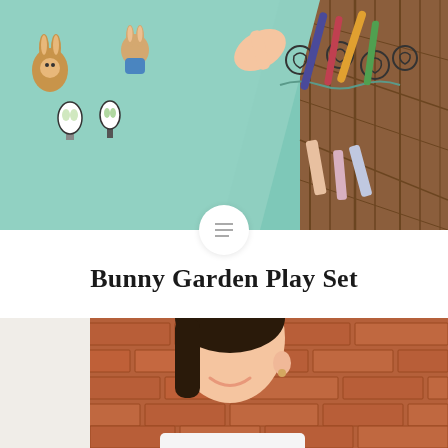[Figure (photo): Top-down view of craft activity with bunny and plant stickers on teal paper, a hand drawing roses, and colorful markers/chalk on wooden surface]
Bunny Garden Play Set
Bunnies, plants, and a home for the bees... This activity set is great for a...
READ MORE
[Figure (photo): Smiling young girl with dark hair in front of a brick wall, wearing a white top]